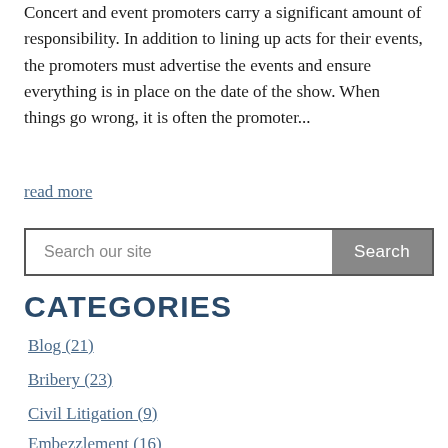Concert and event promoters carry a significant amount of responsibility. In addition to lining up acts for their events, the promoters must advertise the events and ensure everything is in place on the date of the show. When things go wrong, it is often the promoter...
read more
[Figure (other): Search bar with text 'Search our site' and a grey Search button]
CATEGORIES
Blog (21)
Bribery (23)
Civil Litigation (9)
Embezzlement (16)